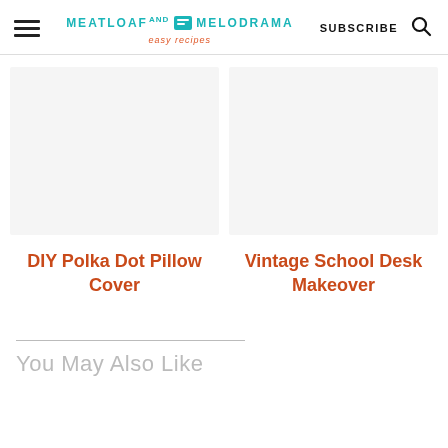Meatloaf and Melodrama - easy recipes | SUBSCRIBE
[Figure (illustration): Placeholder image area for DIY Polka Dot Pillow Cover article card]
DIY Polka Dot Pillow Cover
[Figure (illustration): Placeholder image area for Vintage School Desk Makeover article card]
Vintage School Desk Makeover
You May Also Like